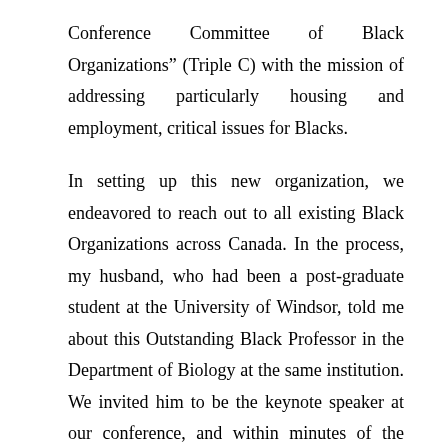Conference Committee of Black Organizations” (Triple C) with the mission of addressing particularly housing and employment, critical issues for Blacks.
In setting up this new organization, we endeavored to reach out to all existing Black Organizations across Canada. In the process, my husband, who had been a post-graduate student at the University of Windsor, told me about this Outstanding Black Professor in the Department of Biology at the same institution. We invited him to be the keynote speaker at our conference, and within minutes of the delivery of his speech, he became The National Chairperson of 46 Black Organizations across the country which formed our Triple C (The Canadian Conference Committee of Black Organizations.)